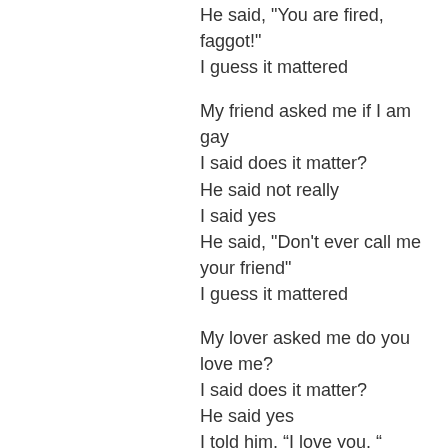He said, "You are fired, faggot!"
I guess it mattered

My friend asked me if I am gay
I said does it matter?
He said not really
I said yes
He said, "Don't ever call me your friend"
I guess it mattered

My lover asked me do you love me?
I said does it matter?
He said yes
I told him, “I love you. “
He said, "Let me hold you in my arms."
For the first time in my life something's mattered.

[My God] asked me, "Do you love yourself?"